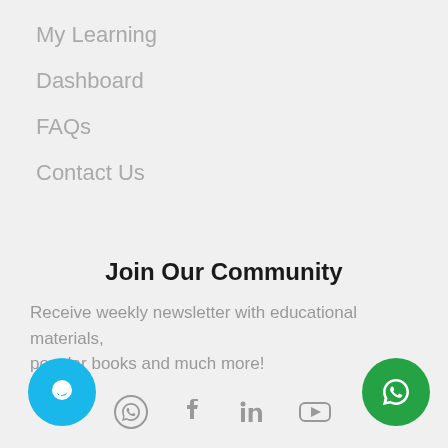My Learning
Dashboard
FAQs
Contact Us
Join Our Community
Receive weekly newsletter with educational materials, popular books and much more!
[Figure (infographic): Social media icons: WhatsApp, Facebook, LinkedIn, YouTube]
Need Help? Chat with us